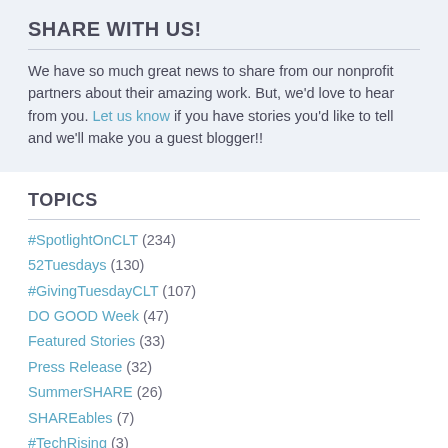SHARE WITH US!
We have so much great news to share from our nonprofit partners about their amazing work. But, we'd love to hear from you. Let us know if you have stories you'd like to tell and we'll make you a guest blogger!!
TOPICS
#SpotlightOnCLT (234)
52Tuesdays (130)
#GivingTuesdayCLT (107)
DO GOOD Week (47)
Featured Stories (33)
Press Release (32)
SummerSHARE (26)
SHAREables (7)
#TechRising (3)
veterans day (1)
#boardofdirectors (1)
give (1)
volunteer (1)
#bpm2022clt (1)